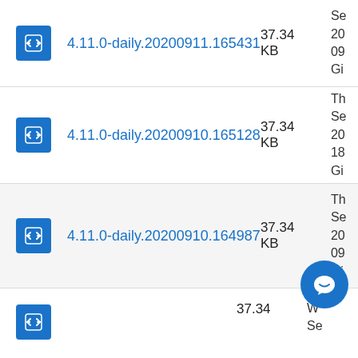4.11.0-daily.20200911.165431  37.34 KB  Se 20 09 Gi
4.11.0-daily.20200910.165128  37.34 KB  Th Se 20 18 Gi
4.11.0-daily.20200910.164987  37.34 KB  Th Se 20 09 Gi
4.11.0-daily.20200909... 37.34  W Se